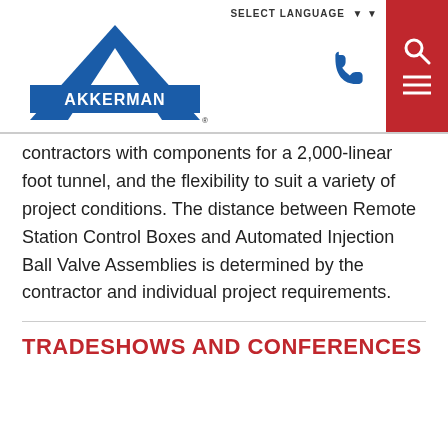SELECT LANGUAGE
[Figure (logo): Akkerman company logo — blue triangle with white 'A' and blue bar with white AKKERMAN text]
contractors with components for a 2,000-linear foot tunnel, and the flexibility to suit a variety of project conditions. The distance between Remote Station Control Boxes and Automated Injection Ball Valve Assemblies is determined by the contractor and individual project requirements.
TRADESHOWS AND CONFERENCES